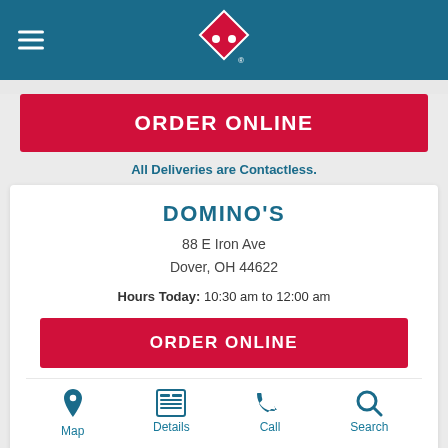[Figure (logo): Domino's Pizza logo — red diamond with white dots on blue header background, with hamburger menu icon on left]
ORDER ONLINE
All Deliveries are Contactless.
DOMINO'S
88 E Iron Ave
Dover, OH 44622
Hours Today: 10:30 am to 12:00 am
ORDER ONLINE
Map
Details
Call
Search